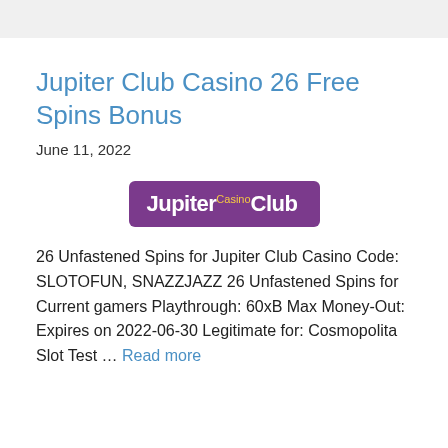Jupiter Club Casino 26 Free Spins Bonus
June 11, 2022
[Figure (logo): Jupiter Club Casino logo — purple rounded rectangle with white text 'JupiterClub' and small 'Casino' superscript in gold]
26 Unfastened Spins for Jupiter Club Casino Code: SLOTOFUN, SNAZZJAZZ 26 Unfastened Spins for Current gamers Playthrough: 60xB Max Money-Out: Expires on 2022-06-30 Legitimate for: Cosmopolita Slot Test … Read more